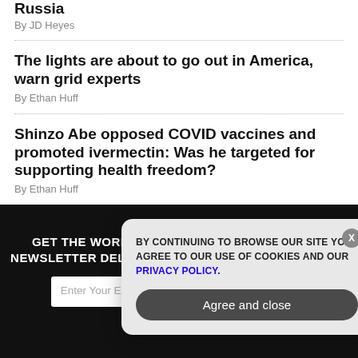Russia
By JD Heyes
The lights are about to go out in America, warn grid experts
By Ethan Huff
Shinzo Abe opposed COVID vaccines and promoted ivermectin: Was he targeted for supporting health freedom?
By Ethan Huff
GET THE WORLD'S MOST INDEPENDENT MEDIA NEWSLETTER DELIVERED STRAIGHT TO YOUR INBOX.
Enter Your Email Address
SUBSCRIBE
BY CONTINUING TO BROWSE OUR SITE YOU AGREE TO OUR USE OF COOKIES AND OUR PRIVACY POLICY.
Agree and close